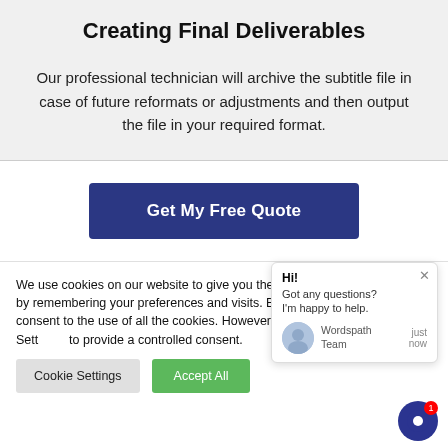Creating Final Deliverables
Our professional technician will archive the subtitle file in case of future reformats or adjustments and then output the file in your required format.
Get My Free Quote
We use cookies on our website to give you the most relevant experience by remembering your preferences and visits. By clicking "Accept All", you consent to the use of all the cookies. However, you may visit "Cookie Settings" to provide a controlled consent.
Cookie Settings
Accept All
Hi! Got any questions? I'm happy to help.
Wordspath Team just now